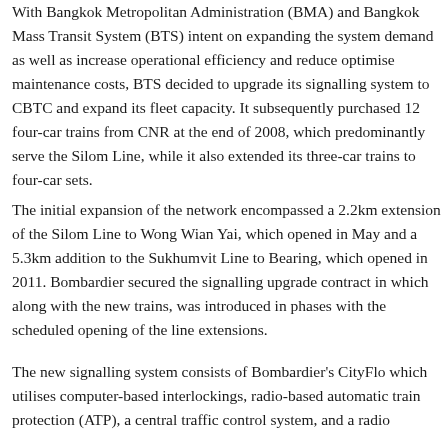With Bangkok Metropolitan Administration (BMA) and Bangkok Mass Transit System (BTS) intent on expanding the system demand as well as increase operational efficiency and reduce optimise maintenance costs, BTS decided to upgrade its signalling system to CBTC and expand its fleet capacity. It subsequently purchased 12 four-car trains from CNR at the end of 2008, which predominantly serve the Silom Line, while it also extended its three-car trains to four-car sets.
The initial expansion of the network encompassed a 2.2km extension of the Silom Line to Wong Wian Yai, which opened in May and a 5.3km addition to the Sukhumvit Line to Bearing, which opened in 2011. Bombardier secured the signalling upgrade contract in which along with the new trains, was introduced in phases with the scheduled opening of the line extensions.
The new signalling system consists of Bombardier's CityFlow which utilises computer-based interlockings, radio-based automatic train protection (ATP), a central traffic control system, and a radio